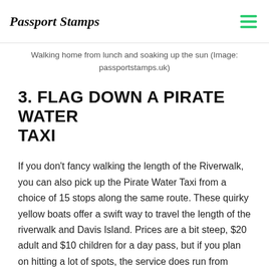Passport Stamps
Walking home from lunch and soaking up the sun (Image: passportstamps.uk)
3. FLAG DOWN A PIRATE WATER TAXI
If you don't fancy walking the length of the Riverwalk, you can also pick up the Pirate Water Taxi from a choice of 15 stops along the same route. These quirky yellow boats offer a swift way to travel the length of the riverwalk and Davis Island. Prices are a bit steep, $20 adult and $10 children for a day pass, but if you plan on hitting a lot of spots, the service does run from 11.30am to 10.30pm, so a bit of planning will ensure value for money.